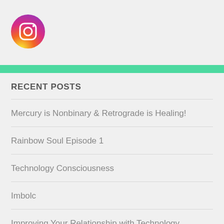[Figure (logo): Instagram logo icon — circular gradient icon (purple to orange) with camera symbol in white]
RECENT POSTS
Mercury is Nonbinary & Retrograde is Healing!
Rainbow Soul Episode 1
Technology Consciousness
Imbolc
Improving Your Relationship with Technology